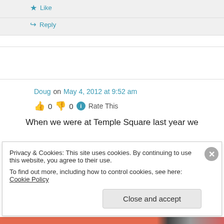★ Like
↳ Reply
Doug on May 4, 2012 at 9:52 am
👍 0 👎 0 ℹ Rate This
When we were at Temple Square last year we
Privacy & Cookies: This site uses cookies. By continuing to use this website, you agree to their use.
To find out more, including how to control cookies, see here: Cookie Policy
Close and accept